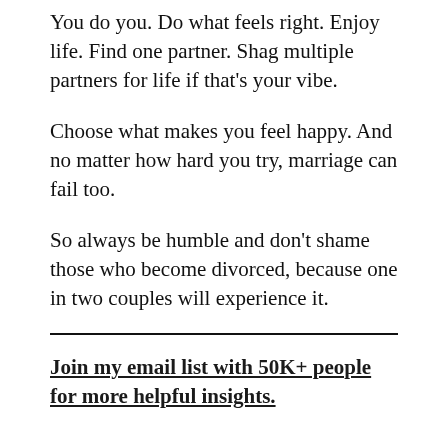You do you. Do what feels right. Enjoy life. Find one partner. Shag multiple partners for life if that's your vibe.
Choose what makes you feel happy. And no matter how hard you try, marriage can fail too.
So always be humble and don't shame those who become divorced, because one in two couples will experience it.
Join my email list with 50K+ people for more helpful insights.